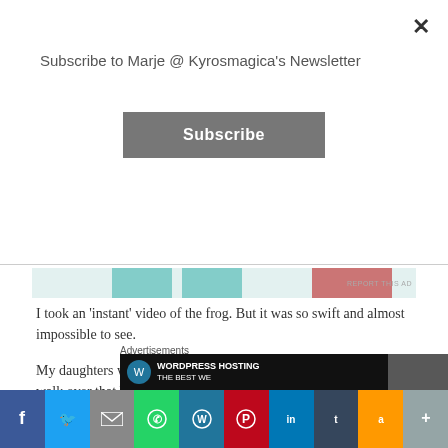Subscribe to Marje @ Kyrosmagica's Newsletter
Subscribe
I took an ‘instant’ video of the frog. But it was so swift and almost impossible to see.
My daughters walked ahead and didn't see the frog. Next time, we walk over that bridge I will point it out to them. Unless of course I imagined it!
A metamorphis
Advertisements
WORDPRESS HOSTING